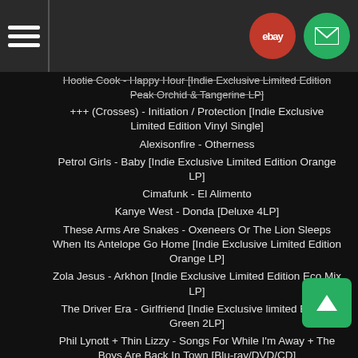Navigation bar with hamburger menu, eBay button, and mail button
Hootie Cook - Happy Hour [Indie Exclusive Limited Edition Peak Orchid & Tangerine LP]
+++ (Crosses) - Initiation / Protection [Indie Exclusive Limited Edition Vinyl Single]
Alexisonfire - Otherness
Petrol Girls - Baby [Indie Exclusive Limited Edition Orange LP]
Cimafunk - El Alimento
Kanye West - Donda [Deluxe 4LP]
These Arms Are Snakes - Oxeneers Or The Lion Sleeps When Its Antelope Go Home [Indie Exclusive Limited Edition Orange LP]
Zola Jesus - Arkhon [Indie Exclusive Limited Edition Eco Mix LP]
The Driver Era - Girlfriend [Indie Exclusive limited Edition Green 2LP]
Phil Lynott + Thin Lizzy - Songs For While I'm Away + The Boys Are Back In Town [Blu-ray/DVD/CD]
& More .....
For more information on these and other releases out this